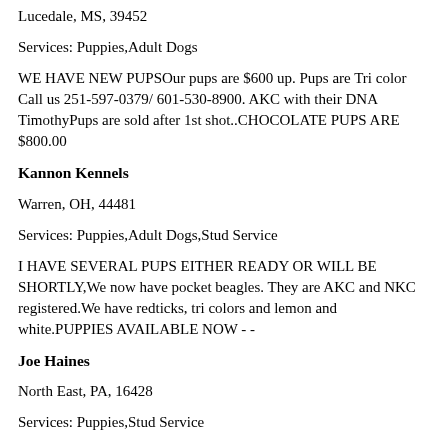Lucedale, MS, 39452
Services: Puppies,Adult Dogs
WE HAVE NEW PUPSOur pups are $600 up. Pups are Tri color Call us 251-597-0379/ 601-530-8900. AKC with their DNA TimothyPups are sold after 1st shot..CHOCOLATE PUPS ARE $800.00
Kannon Kennels
Warren, OH, 44481
Services: Puppies,Adult Dogs,Stud Service
I HAVE SEVERAL PUPS EITHER READY OR WILL BE SHORTLY,We now have pocket beagles. They are AKC and NKC registered.We have redticks, tri colors and lemon and white.PUPPIES AVAILABLE NOW - -
Joe Haines
North East, PA, 16428
Services: Puppies,Stud Service